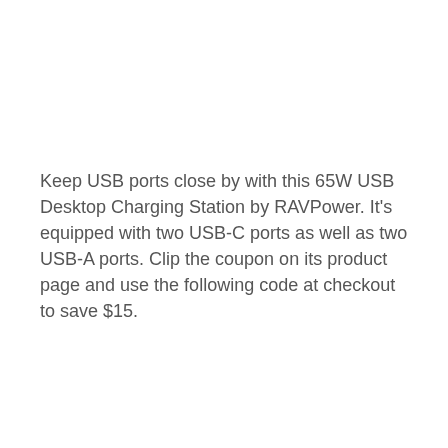Keep USB ports close by with this 65W USB Desktop Charging Station by RAVPower. It's equipped with two USB-C ports as well as two USB-A ports. Clip the coupon on its product page and use the following code at checkout to save $15.